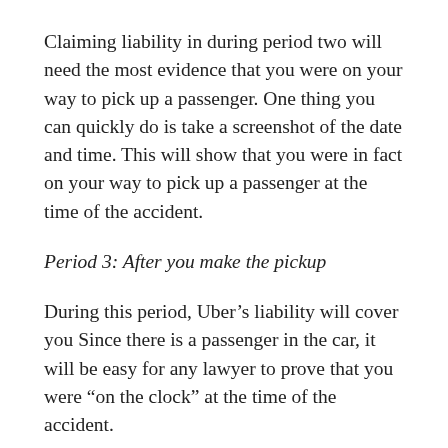Claiming liability in during period two will need the most evidence that you were on your way to pick up a passenger. One thing you can quickly do is take a screenshot of the date and time. This will show that you were in fact on your way to pick up a passenger at the time of the accident.
Period 3: After you make the pickup
During this period, Uber’s liability will cover you Since there is a passenger in the car, it will be easy for any lawyer to prove that you were “on the clock” at the time of the accident.
Contact an Experienced Los Angeles Car Accident Atto...